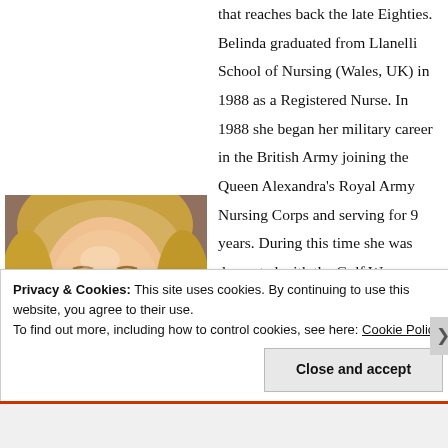that reaches back the late Eighties. Belinda graduated from Llanelli School of Nursing (Wales, UK) in 1988 as a Registered Nurse. In 1988 she began her military career in the British Army joining the Queen Alexandra's Royal Army Nursing Corps and serving for 9 years. During this time she was decorated with the Gulf War Medal. The birth of her first son
[Figure (photo): Portrait photo of a blonde woman smiling, facing slightly forward]
Privacy & Cookies: This site uses cookies. By continuing to use this website, you agree to their use. To find out more, including how to control cookies, see here: Cookie Policy
Close and accept